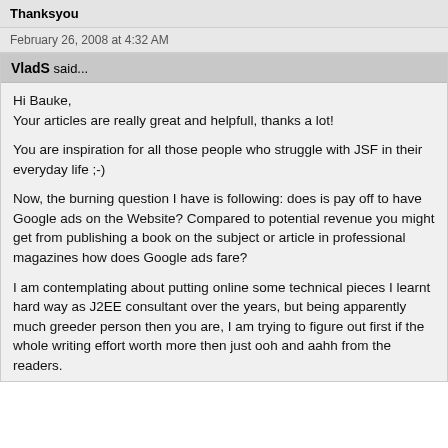Thanksyou
February 26, 2008 at 4:32 AM
VladS said...
Hi Bauke,
Your articles are really great and helpfull, thanks a lot!

You are inspiration for all those people who struggle with JSF in their everyday life ;-)

Now, the burning question I have is following: does is pay off to have Google ads on the Website? Compared to potential revenue you might get from publishing a book on the subject or article in professional magazines how does Google ads fare?

I am contemplating about putting online some technical pieces I learnt hard way as J2EE consultant over the years, but being apparently much greeder person then you are, I am trying to figure out first if the whole writing effort worth more then just ooh and aahh from the readers.